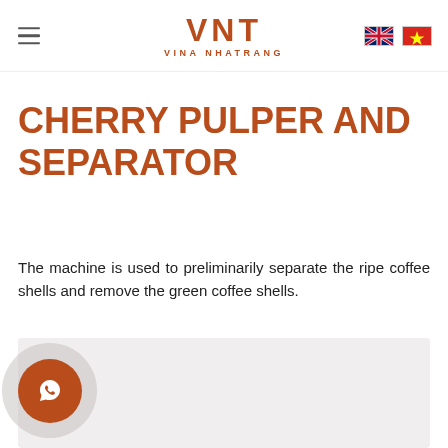VNT VINA NHATRANG
CHERRY PULPER AND SEPARATOR
The machine is used to preliminarily separate the ripe coffee shells and remove the green coffee shells.
[Figure (photo): Light grey image area showing product photo area (partially visible), with a WhatsApp contact bubble in the lower left corner]